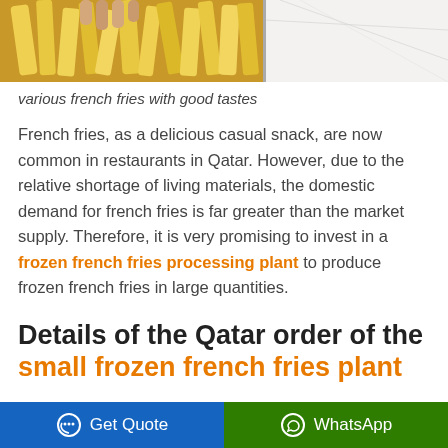[Figure (photo): Photo of french fries — left half shows golden fries up close, right half shows white paper/packaging]
various french fries with good tastes
French fries, as a delicious casual snack, are now common in restaurants in Qatar. However, due to the relative shortage of living materials, the domestic demand for french fries is far greater than the market supply. Therefore, it is very promising to invest in a frozen french fries processing plant to produce frozen french fries in large quantities.
Details of the Qatar order of the small frozen french fries plant
Get Quote   WhatsApp